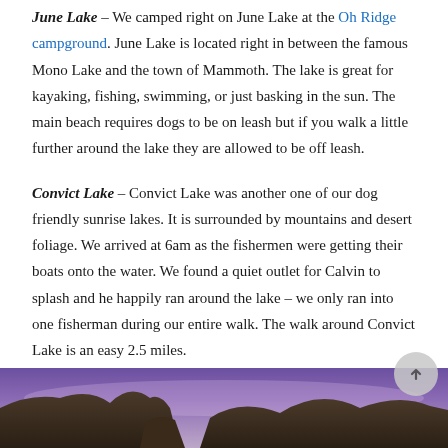June Lake – We camped right on June Lake at the Oh Ridge campground. June Lake is located right in between the famous Mono Lake and the town of Mammoth. The lake is great for kayaking, fishing, swimming, or just basking in the sun. The main beach requires dogs to be on leash but if you walk a little further around the lake they are allowed to be off leash.
Convict Lake – Convict Lake was another one of our dog friendly sunrise lakes. It is surrounded by mountains and desert foliage. We arrived at 6am as the fishermen were getting their boats onto the water. We found a quiet outlet for Calvin to splash and he happily ran around the lake – we only ran into one fisherman during our entire walk. The walk around Convict Lake is an easy 2.5 miles.
[Figure (photo): Partial view of a mountain lake at sunrise/dusk with purple sky and rocky mountain peaks visible at the bottom of the page]